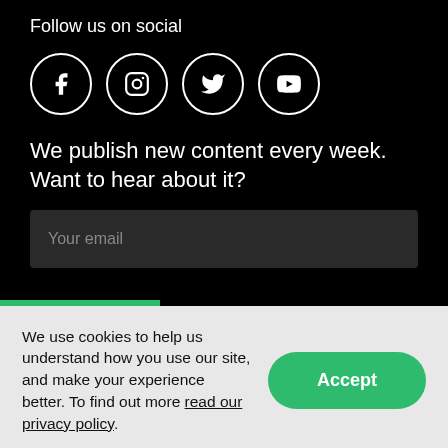Follow us on social
[Figure (illustration): Four social media icons in white circles on black background: Facebook, Instagram, Twitter, YouTube]
We publish new content every week. Want to hear about it?
Your email
We use cookies to help us understand how you use our site, and make your experience better. To find out more read our privacy policy.